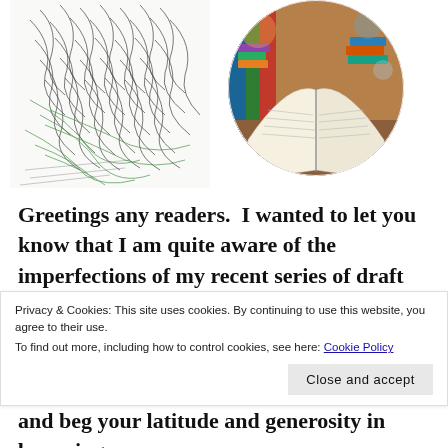[Figure (illustration): Handwritten manuscript pages with overlapping cursive text in black and green ink, irregular diamond/oval shape]
[Figure (photo): Circular cropped photo of open books stacked on a table in a library, warm tones]
Greetings any readers.  I wanted to let you know that I am quite aware of the imperfections of my recent series of draft blogs.  These are first draft typings that I am doing mostly to convince myself that I am not ONE thing (a graduate student) and to have an outlet
Privacy & Cookies: This site uses cookies. By continuing to use this website, you agree to their use.
To find out more, including how to control cookies, see here: Cookie Policy
Close and accept
and beg your latitude and generosity in browsing